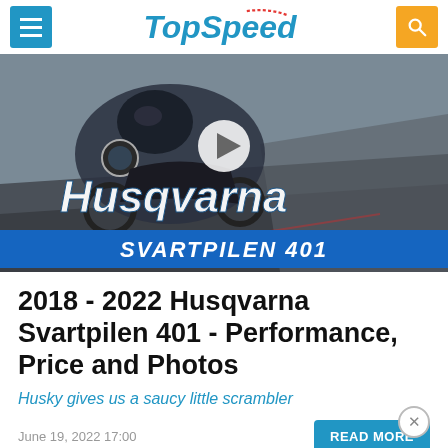TopSpeed
[Figure (screenshot): Husqvarna Svartpilen 401 motorcycle promotional video thumbnail with rider leaning into a curve, Husqvarna logo and SVARTPILEN 401 text overlay on blue banner, play button in center]
2018 - 2022 Husqvarna Svartpilen 401 - Performance, Price and Photos
Husky gives us a saucy little scrambler
June 19, 2022 17:00